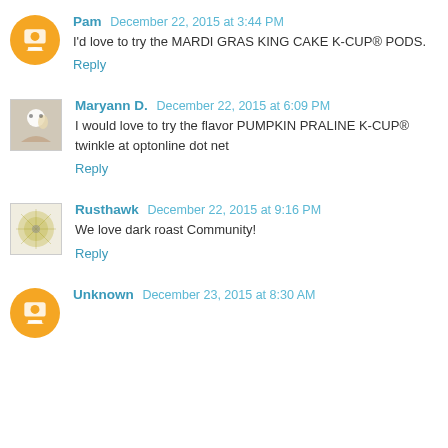Pam December 22, 2015 at 3:44 PM
I'd love to try the MARDI GRAS KING CAKE K-CUP® PODS.
Reply
Maryann D. December 22, 2015 at 6:09 PM
I would love to try the flavor PUMPKIN PRALINE K-CUP® twinkle at optonline dot net
Reply
Rusthawk December 22, 2015 at 9:16 PM
We love dark roast Community!
Reply
Unknown December 23, 2015 at 8:30 AM